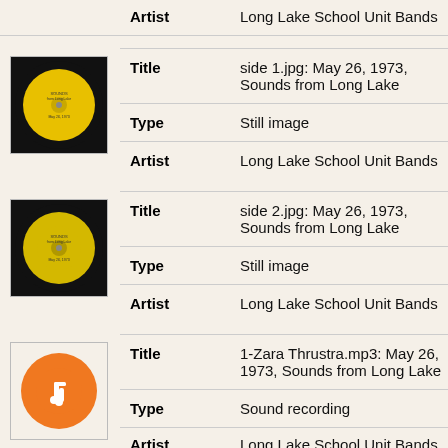| Field | Value |
| --- | --- |
| Artist | Long Lake School Unit Bands |
| Title | side 1.jpg: May 26, 1973, Sounds from Long Lake |
| Type | Still image |
| Artist | Long Lake School Unit Bands |
| Title | side 2.jpg: May 26, 1973, Sounds from Long Lake |
| Type | Still image |
| Artist | Long Lake School Unit Bands |
| Title | 1-Zara Thrustra.mp3: May 26, 1973, Sounds from Long Lake |
| Type | Sound recording |
| Artist | Long Lake School Unit Bands |